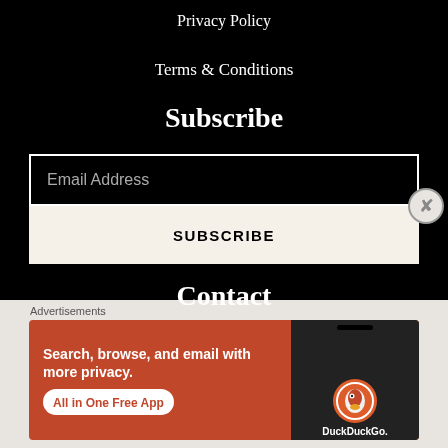Privacy Policy
Terms & Conditions
Subscribe
Email Address
SUBSCRIBE
Contact
Advertisements
[Figure (infographic): DuckDuckGo advertisement banner with orange background. Left side text: 'Search, browse, and email with more privacy.' with 'All in One Free App' pill button. Right side shows a smartphone with DuckDuckGo logo and 'DuckDuckGo.' text.]